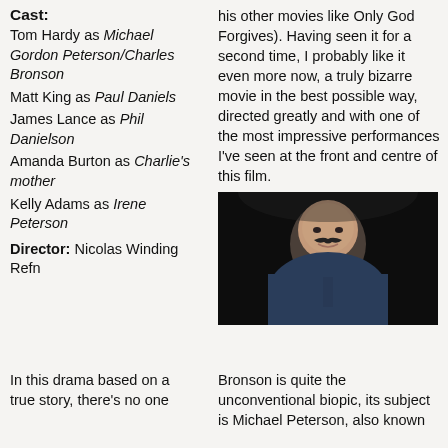Cast:
Tom Hardy as Michael Gordon Peterson/Charles Bronson
Matt King as Paul Daniels
James Lance as Phil Danielson
Amanda Burton as Charlie's mother
Kelly Adams as Irene Peterson
Director: Nicolas Winding Refn
his other movies like Only God Forgives). Having seen it for a second time, I probably like it even more now, a truly bizarre movie in the best possible way, directed greatly and with one of the most impressive performances I've seen at the front and centre of this film.
[Figure (photo): Tom Hardy as Bronson, bald with a handlebar moustache, wearing a dark blue top, smiling on a dark stage background]
In this drama based on a true story, there's no one
Bronson is quite the unconventional biopic, its subject is Michael Peterson, also known